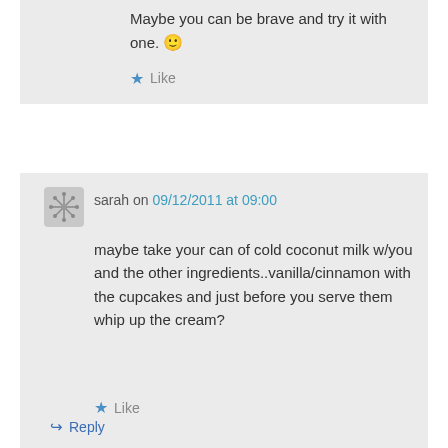Maybe you can be brave and try it with one. 🙂
Like
sarah on 09/12/2011 at 09:00
maybe take your can of cold coconut milk w/you and the other ingredients..vanilla/cinnamon with the cupcakes and just before you serve them whip up the cream?
Like
Reply